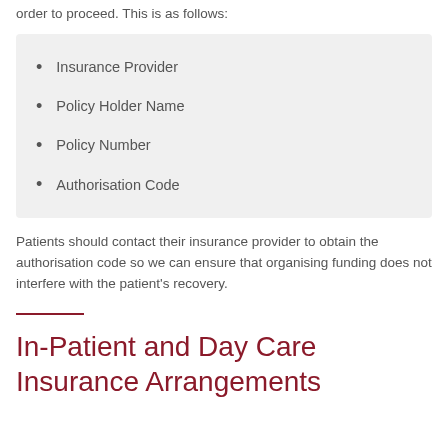order to proceed. This is as follows:
Insurance Provider
Policy Holder Name
Policy Number
Authorisation Code
Patients should contact their insurance provider to obtain the authorisation code so we can ensure that organising funding does not interfere with the patient's recovery.
In-Patient and Day Care Insurance Arrangements